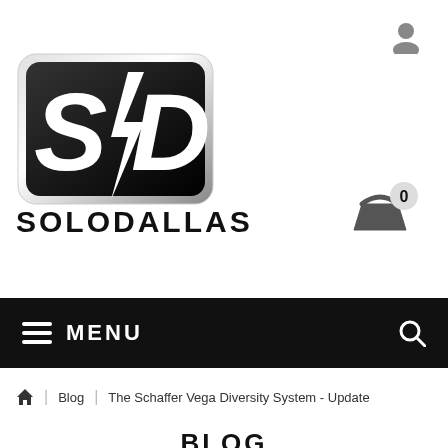[Figure (logo): SoloDallas logo — stylized 'SD' with lightning bolt, text SOLODALLAS below]
[Figure (illustration): User account icon (silhouette) top right]
[Figure (illustration): Shopping basket icon with '0' badge]
≡  MENU
Blog  |  The Schaffer Vega Diversity System - Update
BLOG
[Figure (illustration): Dark circular badge with number 01]